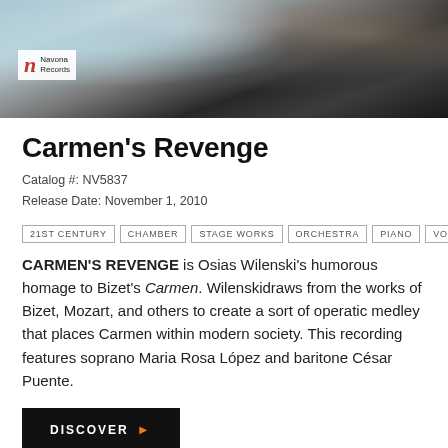[Figure (photo): Album cover artwork for Carmen's Revenge — abstract swirling dark and light tones with a Navona Records logo badge in the lower left of the image]
Carmen's Revenge
Catalog #: NV5837
Release Date: November 1, 2010
21ST CENTURY
CHAMBER
STAGE WORKS
ORCHESTRA
PIANO
VOICE
CARMEN'S REVENGE is Osias Wilenski's humorous homage to Bizet's Carmen. Wilenskidraws from the works of Bizet, Mozart, and others to create a sort of operatic medley that places Carmen within modern society. This recording features soprano Maria Rosa López and baritone César Puente.
DISCOVER